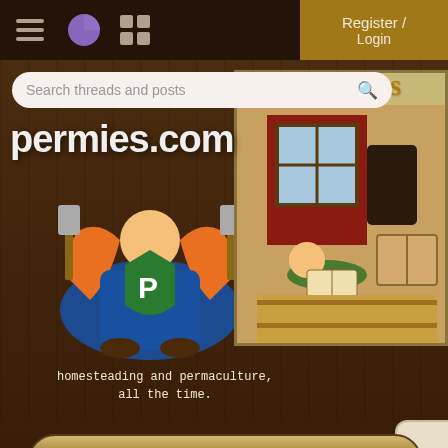permies.com navigation bar with hamburger menu, pie icon, grid icon, and Register/Login button
Search threads and posts
[Figure (logo): permies.com logo with cartoon character holding shovels, green shield with P, colorful illustration]
permies.com
homesteading and permaculture, all the time.
[Figure (illustration): ARTICLES banner with illustrated person reading a book lying on floor near a window, vintage style]
Register /
Login
OTHER THREADS SIMIL... FOR...
permaculture forums
growies
critters
building
Hillside farming
5 replies